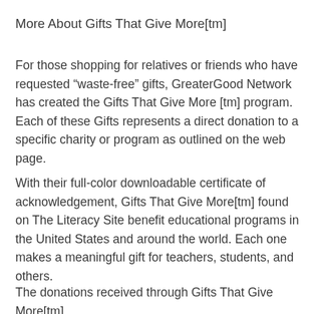More About Gifts That Give More[tm]
For those shopping for relatives or friends who have requested “waste-free” gifts, GreaterGood Network has created the Gifts That Give More [tm] program. Each of these Gifts represents a direct donation to a specific charity or program as outlined on the web page.
With their full-color downloadable certificate of acknowledgement, Gifts That Give More[tm] found on The Literacy Site benefit educational programs in the United States and around the world. Each one makes a meaningful gift for teachers, students, and others.
The donations received through Gifts That Give More[tm]